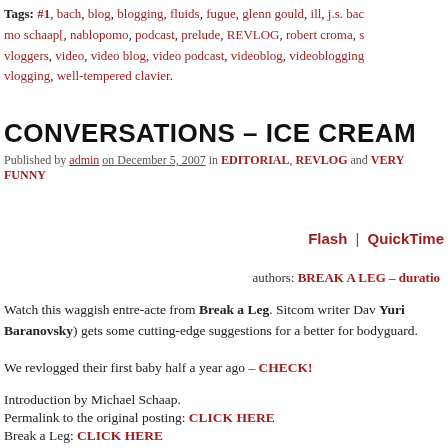Tags: #1, bach, blog, blogging, fluids, fugue, glenn gould, ill, j.s. bac mo schaap[, nablopomo, podcast, prelude, REVLOG, robert croma, s vloggers, video, video blog, video podcast, videoblog, videoblogging vlogging, well-tempered clavier.
CONVERSATIONS – ICE CREAM
Published by admin on December 5, 2007 in EDITORIAL, REVLOG and VERY FUNNY
Flash | QuickTime
authors: BREAK A LEG – duratio
Watch this waggish entre-acte from Break a Leg. Sitcom writer Dav Yuri Baranovsky) gets some cutting-edge suggestions for a better for bodyguard.
We revlogged their first baby half a year ago – CHECK!
Introduction by Michael Schaap.
Permalink to the original posting: CLICK HERE
Break a Leg: CLICK HERE